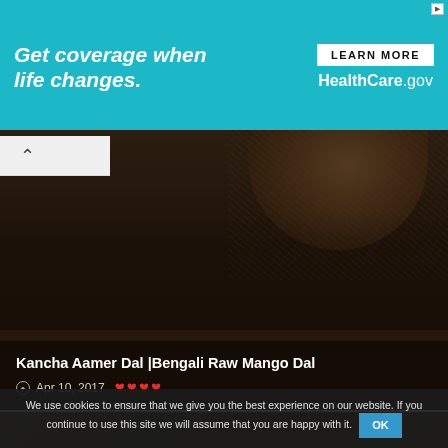[Figure (photo): Advertisement banner: teal/cyan background with white italic bold text 'Get coverage when life changes.' and a white 'LEARN MORE' button with 'HealthCare.gov' in white text on the right side.]
[Figure (photo): Dark food photography showing a bowl with spices/dal, with text overlay showing recipe title 'Kancha Aamer Dal |Bengali Raw Mango Dal', date 'Apr 10, 2017', and four red heart rating icons.]
[Figure (photo): Dark overhead food photography on a black cutting board showing flatbreads/rotis on left, green onion rings, chopped green chilli, a halved lemon/citrus, and a dried onion peel.]
We use cookies to ensure that we give you the best experience on our website. If you continue to use this site we will assume that you are happy with it.